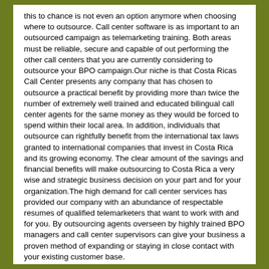this to chance is not even an option anymore when choosing where to outsource. Call center software is as important to an outsourced campaign as telemarketing training. Both areas must be reliable, secure and capable of out performing the other call centers that you are currently considering to outsource your BPO campaign.Our niche is that Costa Ricas Call Center presents any company that has chosen to outsource a practical benefit by providing more than twice the number of extremely well trained and educated bilingual call center agents for the same money as they would be forced to spend within their local area. In addition, individuals that outsource can rightfully benefit from the international tax laws granted to international companies that invest in Costa Rica and its growing economy. The clear amount of the savings and financial benefits will make outsourcing to Costa Rica a very wise and strategic business decision on your part and for your organization.The high demand for call center services has provided our company with an abundance of respectable resumes of qualified telemarketers that want to work with and for you. By outsourcing agents overseen by highly trained BPO managers and call center supervisors can give your business a proven method of expanding or staying in close contact with your existing customer base.